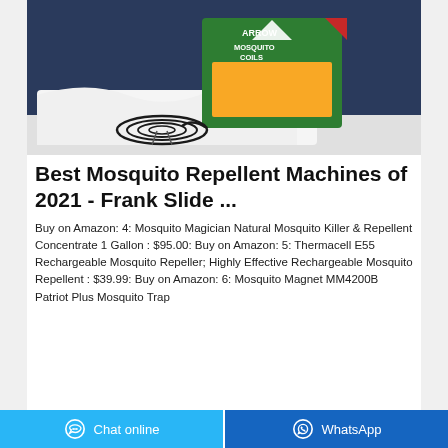[Figure (photo): Product photo showing Arrow Mosquito Coils box (green and yellow packaging) with a mosquito coil on a white surface, dark blue background]
Best Mosquito Repellent Machines of 2021 - Frank Slide ...
Buy on Amazon: 4: Mosquito Magician Natural Mosquito Killer & Repellent Concentrate 1 Gallon : $95.00: Buy on Amazon: 5: Thermacell E55 Rechargeable Mosquito Repeller; Highly Effective Rechargeable Mosquito Repellent : $39.99: Buy on Amazon: 6: Mosquito Magnet MM4200B Patriot Plus Mosquito Trap
Chat online | WhatsApp